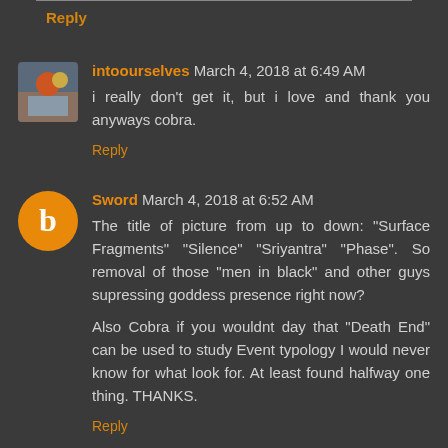Reply
intoourselves March 4, 2018 at 6:49 AM
i really don't get it, but i love and thank you anyways cobra.
Reply
Sword March 4, 2018 at 6:52 AM
The title of picture from up to down: "Surface Fragments" "Silence" "Sriyantra" "Phase". So removal of those "men in black" and other guys supressing goddess presence right now?
Also Cobra if you wouldnt day that "Death End" can be used to study Event typology I would never know for what look for. At least found halfway one thing. THANKS.
Reply